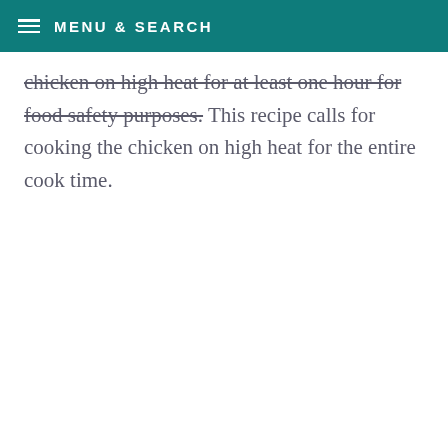MENU & SEARCH
chicken on high heat for at least one hour for food safety purposes. This recipe calls for cooking the chicken on high heat for the entire cook time.